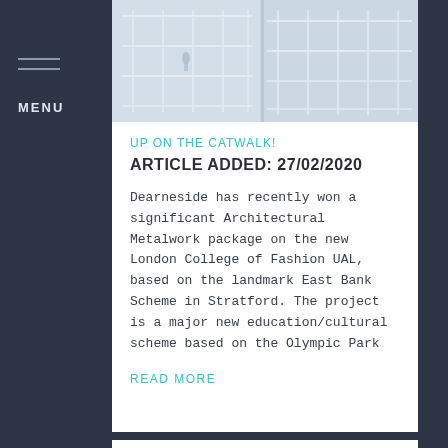MENU
[Figure (photo): Interior architectural photo of a multi-level building with white railings and catwalks, showing an atrium-style space with natural light]
UP ON THE CATWALK!
ARTICLE ADDED: 27/02/2020
Dearneside has recently won a significant Architectural Metalwork package on the new London College of Fashion UAL, based on the landmark East Bank Scheme in Stratford. The project is a major new education/cultural scheme based on the Olympic Park
READ MORE